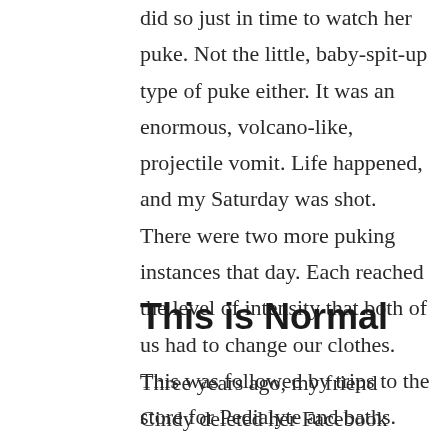did so just in time to watch her puke. Not the little, baby-spit-up type of puke either. It was an enormous, volcano-like, projectile vomit. Life happened, and my Saturday was shot. There were two more puking instances that day. Each reached the level of intensity that both of us had to change our clothes. This was followed by trips to the store for Pedialyte and baths.
This is Normal
Three years ago, my friend Cindy deleted her Facebook account. She told me that she was tired of looking at everyone else's